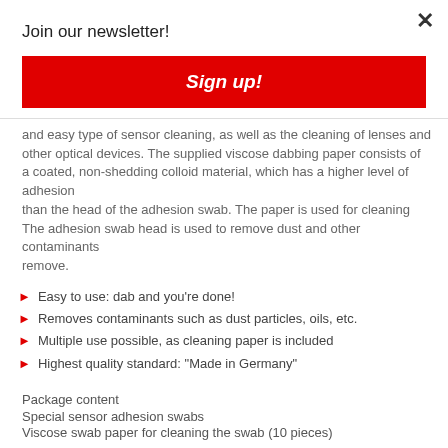Join our newsletter!
Sign up!
and easy type of sensor cleaning, as well as the cleaning of lenses and other optical devices. The supplied viscose dabbing paper consists of a coated, non-shedding colloid material, which has a higher level of adhesion than the head of the adhesion swab. The paper is used for cleaning The adhesion swab head is used to remove dust and other contaminants remove.
Easy to use: dab and you're done!
Removes contaminants such as dust particles, oils, etc.
Multiple use possible, as cleaning paper is included
Highest quality standard: "Made in Germany"
Package content
Special sensor adhesion swabs
Viscose swab paper for cleaning the swab (10 pieces)